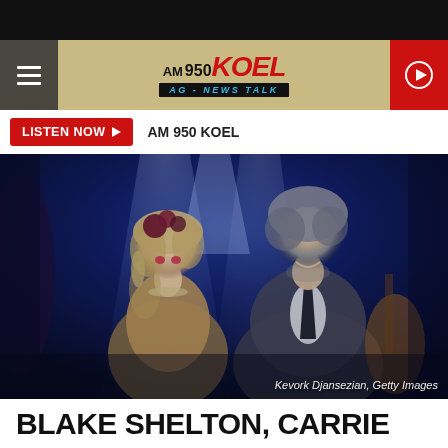[Figure (screenshot): AM 950 KOEL radio station website header with hamburger menu, logo, and play button on a tan/gold background. Logo shows AM 950 KOEL AG - NEWS TALK in red and black.]
LISTEN NOW ▶  AM 950 KOEL
[Figure (photo): Concert photo of two people smiling on stage against blue spotlight background. A woman with blonde hair and floral headpiece in ornate dress, and a man in a dark suit holding a guitar. Photo credit: Kevork Djansezian, Getty Images.]
Kevork Djansezian, Getty Images
BLAKE SHELTON, CARRIE